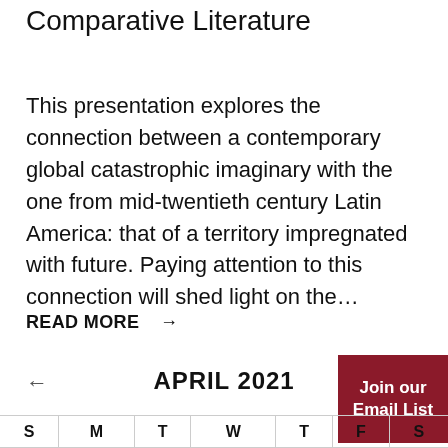Comparative Literature
This presentation explores the connection between a contemporary global catastrophic imaginary with the one from mid-twentieth century Latin America: that of a territory impregnated with future. Paying attention to this connection will shed light on the...
READ MORE →
APRIL 2021
| S | M | T | W | T | F | S |
| --- | --- | --- | --- | --- | --- | --- |